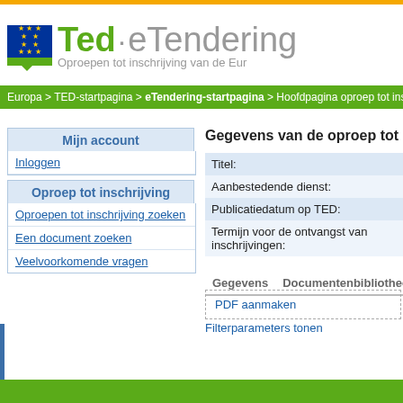[Figure (logo): Ted eTendering EU logo with tagline 'Oproepen tot inschrijving van de Eur...']
Europa > TED-startpagina > eTendering-startpagina > Hoofdpagina oproep tot insc…
Mijn account
Inloggen
Oproep tot inschrijving
Oproepen tot inschrijving zoeken
Een document zoeken
Veelvoorkomende vragen
Gegevens van de oproep tot insch…
| Titel: |
| Aanbestedende dienst: |
| Publicatiedatum op TED: |
| Termijn voor de ontvangst van inschrijvingen: |
Gegevens    Documentenbibliotheek
PDF aanmaken
Filterparameters tonen